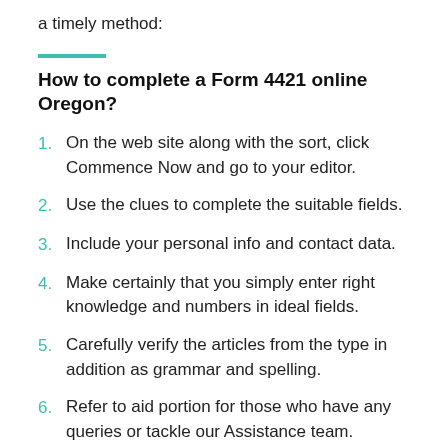a timely method:
How to complete a Form 4421 online Oregon?
On the web site along with the sort, click Commence Now and go to your editor.
Use the clues to complete the suitable fields.
Include your personal info and contact data.
Make certainly that you simply enter right knowledge and numbers in ideal fields.
Carefully verify the articles from the type in addition as grammar and spelling.
Refer to aid portion for those who have any queries or tackle our Assistance team.